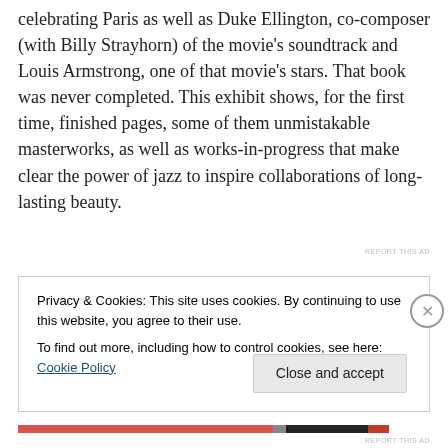celebrating Paris as well as Duke Ellington, co-composer (with Billy Strayhorn) of the movie's soundtrack and Louis Armstrong, one of that movie's stars. That book was never completed. This exhibit shows, for the first time, finished pages, some of them unmistakable masterworks, as well as works-in-progress that make clear the power of jazz to inspire collaborations of long-lasting beauty.
REPORT THIS AD
Privacy & Cookies: This site uses cookies. By continuing to use this website, you agree to their use.
To find out more, including how to control cookies, see here: Cookie Policy
Close and accept
REPORT THIS AD